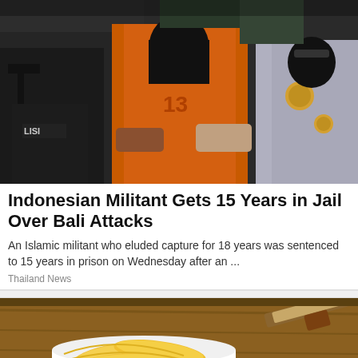[Figure (photo): Indonesian police in tactical gear and masks escorting a suspect in an orange jumpsuit with a black mask covering their face, number 13 visible on the jumpsuit. Police officer in grey uniform with badge visible on right.]
Indonesian Militant Gets 15 Years in Jail Over Bali Attacks
An Islamic militant who eluded capture for 18 years was sentenced to 15 years in prison on Wednesday after an ...
Thailand News
[Figure (photo): Close-up photo of sliced mango or similar yellow tropical fruit in a white bowl on a wooden surface, with a knife visible in the background.]